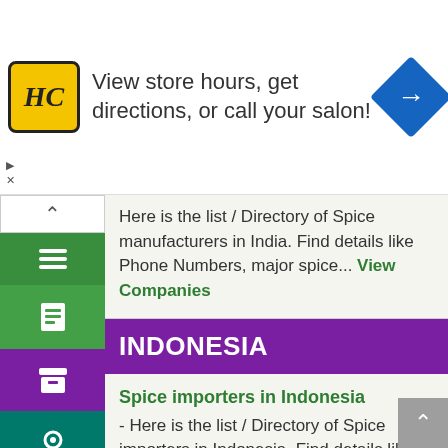[Figure (screenshot): Advertisement banner for HC salon brand showing logo, text 'View store hours, get directions, or call your salon!' and blue direction arrow icon]
Here is the list / Directory of Spice manufacturers in India. Find details like Phone Numbers, major spice... View Companies
INDONESIA
Spice importers in Indonesia - Here is the list / Directory of Spice importers in Indonesia. Find details like Phone Numbers, major spice... View Companies